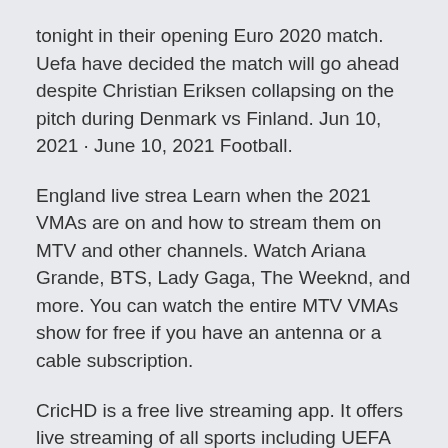tonight in their opening Euro 2020 match. Uefa have decided the match will go ahead despite Christian Eriksen collapsing on the pitch during Denmark vs Finland. Jun 10, 2021 · June 10, 2021 Football.
England live strea Learn when the 2021 VMAs are on and how to stream them on MTV and other channels. Watch Ariana Grande, BTS, Lady Gaga, The Weeknd, and more. You can watch the entire MTV VMAs show for free if you have an antenna or a cable subscription.
CricHD is a free live streaming app. It offers live streaming of all sports including UEFA Euro 2020 in HD quality. It provides streaming through different channels. CricHD updates its schedule on daily basis and stream all the new and old matches of Euro 2020.